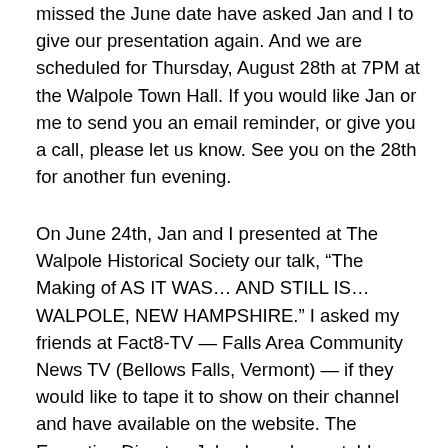missed the June date have asked Jan and I to give our presentation again.  And we are scheduled for Thursday, August 28th at 7PM at the Walpole Town Hall.  If you would like Jan or me to send you an email reminder, or give you a call, please let us know.  See you on the 28th for another fun evening.
On June 24th, Jan and I presented at The Walpole Historical Society our talk, “The Making of AS IT WAS… AND STILL IS… WALPOLE, NEW HAMPSHIRE.”  I asked my friends at Fact8-TV — Falls Area Community News TV (Bellows Falls, Vermont) —  if they would like to tape it to show on their channel and have available on the website.  The Executive Director, Jake, has always told me he “needs content” and he readily agreed. He sent Melissa over to tape our talk (I am getting older – Melissa and I were in plays together when she was in high school – she